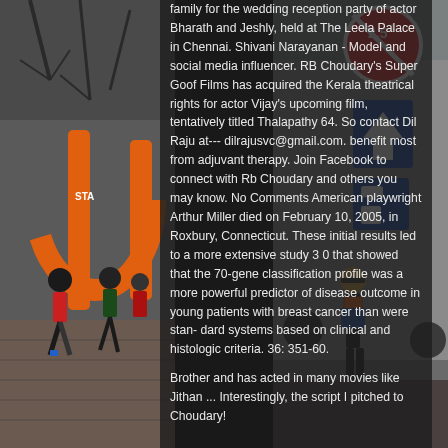[Figure (photo): Left background: people running in a road race past an orange START arch inflatable, trees visible, brick path, participants wearing race bibs]
[Figure (photo): Right background: street scene with road signs including a red circular speed limit sign showing 2.5, a blue one-way arrow sign, pedestrian crossing signs; a man in black shorts and orange vest walking]
family for the wedding reception party of actor Bharath and Jeshly, held at The Leela Palace in Chennai. Shivani Narayanan - Model and social media influencer. RB Choudary's Super Goof Films has acquired the Kerala theatrical rights for actor Vijay's upcoming film, tentatively titled Thalapathy 64. So contact Dil Raju at--- dilrajusvc@gmail.com. benefit most from adjuvant therapy. Join Facebook to connect with Rb Choudary and others you may know. No Comments American playwright Arthur Miller died on February 10, 2005, in Roxbury, Connecticut. These initial results led to a more extensive study 3 0 that showed that the 70-gene classification profile was a more powerful predictor of disease outcome in young patients with breast cancer than were stan- dard systems based on clinical and histologic criteria. 36: 351-60.
Brother and has acted in many movies like Jithan ... Interestingly, the script I pitched to Choudary!